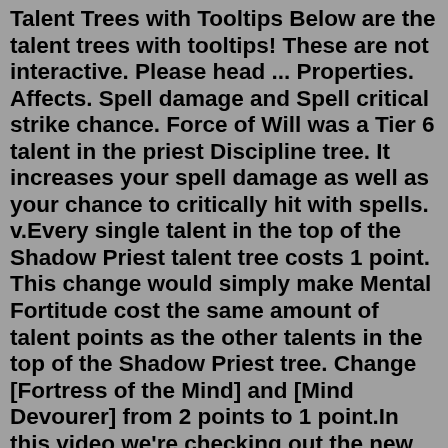Talent Trees with Tooltips Below are the talent trees with tooltips! These are not interactive. Please head ... Properties. Affects. Spell damage and Spell critical strike chance. Force of Will was a Tier 6 talent in the priest Discipline tree. It increases your spell damage as well as your chance to critically hit with spells. v.Every single talent in the top of the Shadow Priest talent tree costs 1 point. This change would simply make Mental Fortitude cost the same amount of talent points as the other talents in the top of the Shadow Priest tree. Change [Fortress of the Mind] and [Mind Devourer] from 2 points to 1 point.In this video we're checking out the new talent tree for shadow priest in the World of Warcraft: Dragonflight Alpha and creating a build for open world quest... burn pits and autoimmune disorders natalie portman padme rogue talent calculator dragonflight patty columbo book. 1qb dynasty mock draft; bmw headlight pointing down; chateau function menu; wedding wishes to client; gura gpo; new orleans